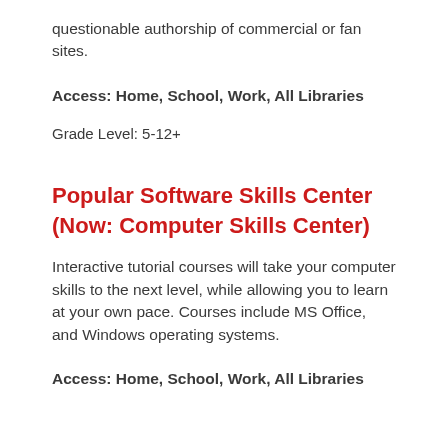questionable authorship of commercial or fan sites.
Access: Home, School, Work, All Libraries
Grade Level: 5-12+
Popular Software Skills Center (Now: Computer Skills Center)
Interactive tutorial courses will take your computer skills to the next level, while allowing you to learn at your own pace. Courses include MS Office, and Windows operating systems.
Access: Home, School, Work, All Libraries